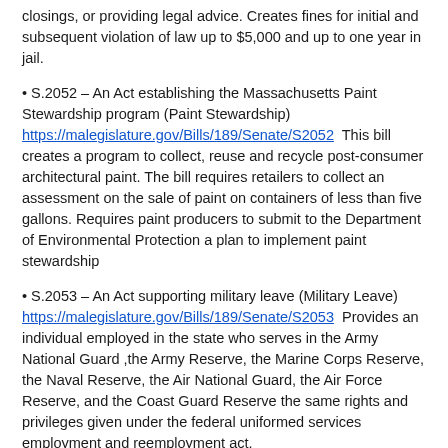closings, or providing legal advice. Creates fines for initial and subsequent violation of law up to $5,000 and up to one year in jail.
S.2052 – An Act establishing the Massachusetts Paint Stewardship program (Paint Stewardship) https://malegislature.gov/Bills/189/Senate/S2052  This bill creates a program to collect, reuse and recycle post-consumer architectural paint. The bill requires retailers to collect an assessment on the sale of paint on containers of less than five gallons. Requires paint producers to submit to the Department of Environmental Protection a plan to implement paint stewardship
S.2053 – An Act supporting military leave (Military Leave) https://malegislature.gov/Bills/189/Senate/S2053  Provides an individual employed in the state who serves in the Army National Guard ,the Army Reserve, the Marine Corps Reserve, the Naval Reserve, the Air National Guard, the Air Force Reserve, and the Coast Guard Reserve the same rights and privileges given under the federal uniformed services employment and reemployment act.